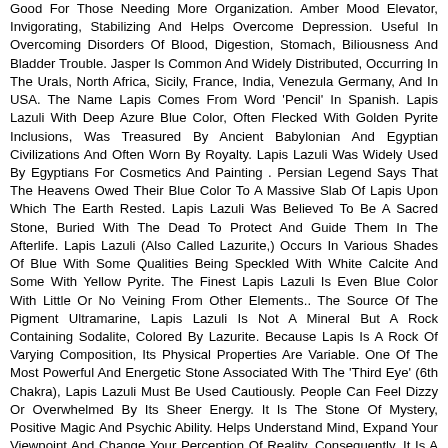Good For Those Needing More Organization. Amber Mood Elevator, Invigorating, Stabilizing And Helps Overcome Depression. Useful In Overcoming Disorders Of Blood, Digestion, Stomach, Biliousness And Bladder Trouble. Jasper Is Common And Widely Distributed, Occurring In The Urals, North Africa, Sicily, France, India, Venezula Germany, And In USA. The Name Lapis Comes From Word 'Pencil' In Spanish. Lapis Lazuli With Deep Azure Blue Color, Often Flecked With Golden Pyrite Inclusions, Was Treasured By Ancient Babylonian And Egyptian Civilizations And Often Worn By Royalty. Lapis Lazuli Was Widely Used By Egyptians For Cosmetics And Painting . Persian Legend Says That The Heavens Owed Their Blue Color To A Massive Slab Of Lapis Upon Which The Earth Rested. Lapis Lazuli Was Believed To Be A Sacred Stone, Buried With The Dead To Protect And Guide Them In The Afterlife. Lapis Lazuli (Also Called Lazurite,) Occurs In Various Shades Of Blue With Some Qualities Being Speckled With White Calcite And Some With Yellow Pyrite. The Finest Lapis Lazuli Is Even Blue Color With Little Or No Veining From Other Elements.. The Source Of The Pigment Ultramarine, Lapis Lazuli Is Not A Mineral But A Rock Containing Sodalite, Colored By Lazurite. Because Lapis Is A Rock Of Varying Composition, Its Physical Properties Are Variable. One Of The Most Powerful And Energetic Stone Associated With The 'Third Eye' (6th Chakra), Lapis Lazuli Must Be Used Cautiously. People Can Feel Dizzy Or Overwhelmed By Its Sheer Energy. It Is The Stone Of Mystery, Positive Magic And Psychic Ability. Helps Understand Mind, Expand Your Viewpoint And Change Your Perception Of Reality. Consequently, It Is A Highly Spiritual Stone And Should Be Used During Meditation. Heals Emotional Wounds